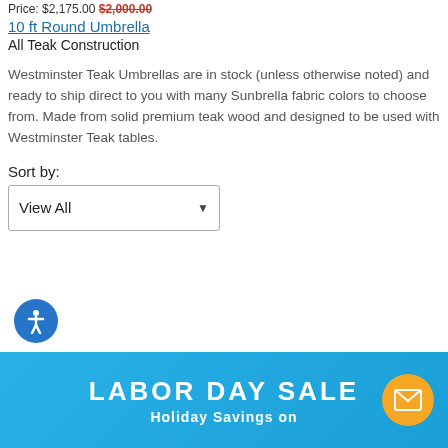Price: $2,175.00 $2,000.00
10 ft Round Umbrella
All Teak Construction
Westminster Teak Umbrellas are in stock (unless otherwise noted) and ready to ship direct to you with many Sunbrella fabric colors to choose from. Made from solid premium teak wood and designed to be used with Westminster Teak tables.
Sort by:
View All
[Figure (other): Blue circular accessibility icon with white person figure]
[Figure (infographic): Blue banner with LABOR DAY SALE text and Holiday Savings on subtitle, with orange email button]
LABOR DAY SALE
Holiday Savings on